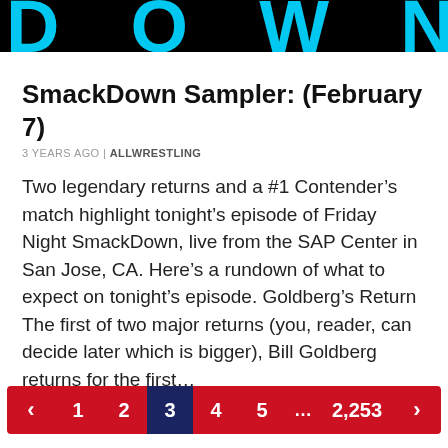DOWN
SmackDown Sampler: (February 7)
3 YEARS AGO | ALLWRESTLING
Two legendary returns and a #1 Contender’s match highlight tonight’s episode of Friday Night SmackDown, live from the SAP Center in San Jose, CA. Here’s a rundown of what to expect on tonight’s episode. Goldberg’s Return The first of two major returns (you, reader, can decide later which is bigger), Bill Goldberg returns for the first…
‹  1  2  3  4  5  …  2,253  ›